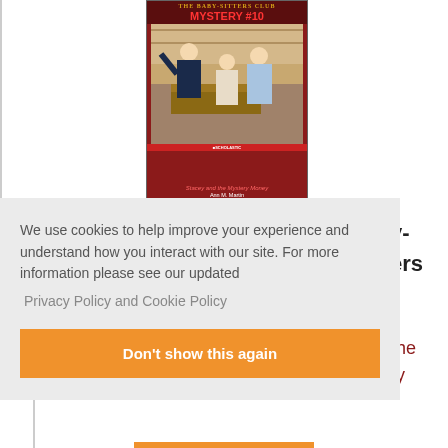[Figure (illustration): Book cover of 'The Baby-Sitters Club Mystery #10: Stacey and the Mystery Money' by Ann M. Martin, published by Scholastic. Dark red cover with illustration of three figures (two young women and a girl) at what appears to be a counter or shop. Title text in red reads MYSTERY #10.]
We use cookies to help improve your experience and understand how you interact with our site. For more information please see our updated
Privacy Policy and Cookie Policy
Don't show this again